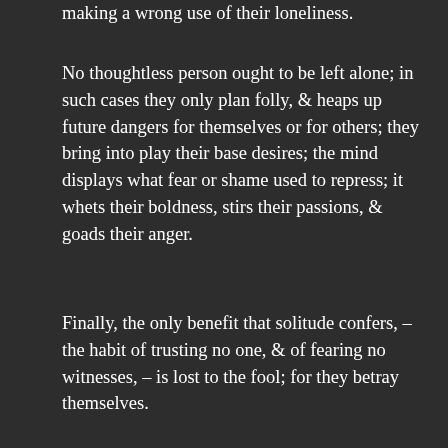making a wrong use of their loneliness.
No thoughtless person ought to be left alone; in such cases they only plan folly, & heaps up future dangers for themselves or for others; they bring into play their base desires; the mind displays what fear or shame used to repress; it whets their boldness, stirs their passions, & goads their anger.
Finally, the only benefit that solitude confers, – the habit of trusting no one, & of fearing no witnesses, – is lost to the fool; for they betray themselves.